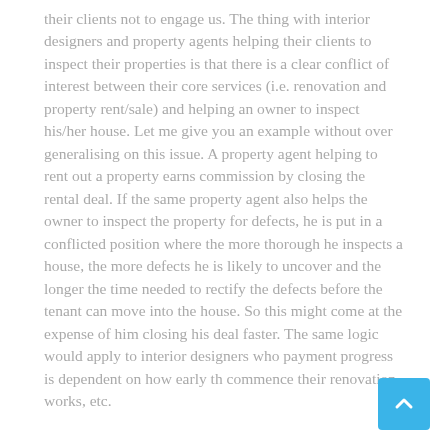their clients not to engage us. The thing with interior designers and property agents helping their clients to inspect their properties is that there is a clear conflict of interest between their core services (i.e. renovation and property rent/sale) and helping an owner to inspect his/her house. Let me give you an example without over generalising on this issue. A property agent helping to rent out a property earns commission by closing the rental deal. If the same property agent also helps the owner to inspect the property for defects, he is put in a conflicted position where the more thorough he inspects a house, the more defects he is likely to uncover and the longer the time needed to rectify the defects before the tenant can move into the house. So this might come at the expense of him closing his deal faster. The same logic would apply to interior designers who payment progress is dependent on how early th commence their renovation works, etc.